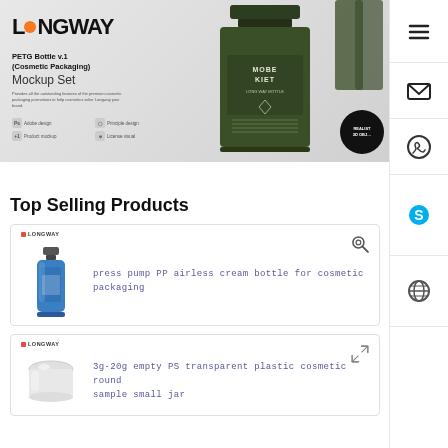[Figure (screenshot): Hero banner showing LONGWAY brand PETG Bottle v.1 Cosmetic Packaging Mockup Set with dark green perfume bottle]
[Figure (other): Right sidebar with hamburger menu, email, WhatsApp, Skype, and globe icons]
Top Selling Products
[Figure (photo): Blue press pump PP airless cream bottle product thumbnail with Longway logo]
press pump PP airless cream bottle for cosmetic packaging
[Figure (other): Search/magnify icon top right of first product card]
[Figure (photo): White/clear round cosmetic jar thumbnail with Longway logo]
3g-20g empty PS transparent plastic cosmetic round sample small jar
[Figure (other): Expand/fullscreen icon top right of second product card]